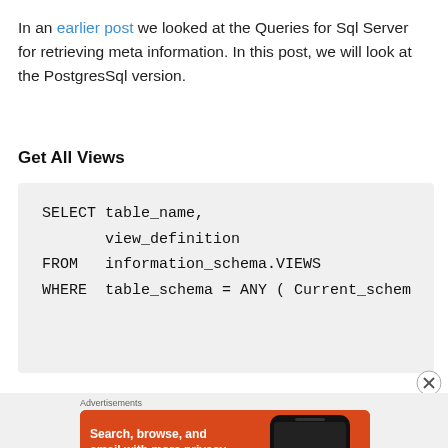In an earlier post we looked at the Queries for Sql Server for retrieving meta information. In this post, we will look at the PostgresSql version.
Get All Views
[Figure (screenshot): Code block showing SQL query: SELECT table_name, view_definition FROM information_schema.VIEWS WHERE table_schema = ANY ( Current_schem...]
[Figure (screenshot): DuckDuckGo advertisement banner with orange background. Text: Search, browse, and email with more privacy. All in One Free App. Shows DuckDuckGo logo and phone image.]